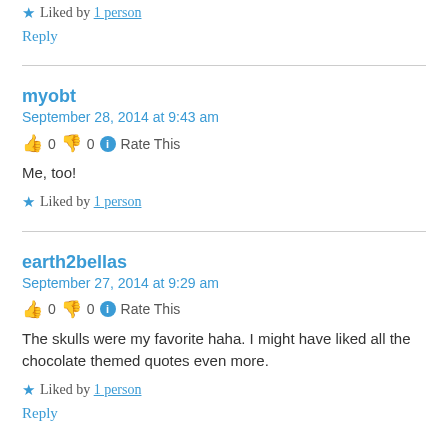★ Liked by 1 person
Reply
myobt
September 28, 2014 at 9:43 am
👍 0 👎 0 ℹ Rate This
Me, too!
★ Liked by 1 person
earth2bellas
September 27, 2014 at 9:29 am
👍 0 👎 0 ℹ Rate This
The skulls were my favorite haha. I might have liked all the chocolate themed quotes even more.
★ Liked by 1 person
Reply